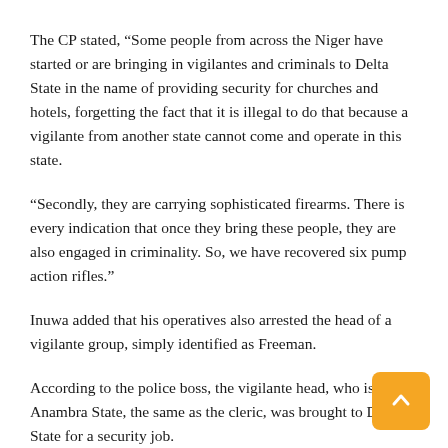The CP stated, “Some people from across the Niger have started or are bringing in vigilantes and criminals to Delta State in the name of providing security for churches and hotels, forgetting the fact that it is illegal to do that because a vigilante from another state cannot come and operate in this state.
“Secondly, they are carrying sophisticated firearms. There is every indication that once they bring these people, they are also engaged in criminality. So, we have recovered six pump action rifles.”
Inuwa added that his operatives also arrested the head of a vigilante group, simply identified as Freeman.
According to the police boss, the vigilante head, who is from Anambra State, the same as the cleric, was brought to Delta State for a security job.
The CP said the investigation led to the arrest of the resident pastor